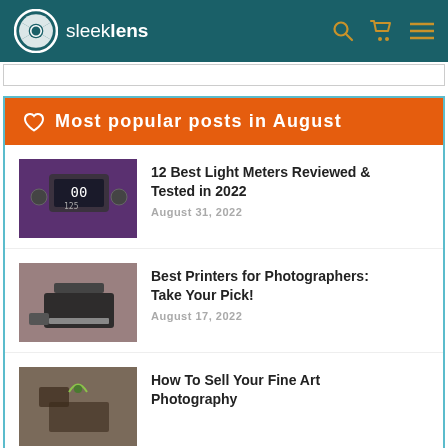sleeklens
Most popular posts in August
12 Best Light Meters Reviewed & Tested in 2022
August 31, 2022
Best Printers for Photographers: Take Your Pick!
August 17, 2022
How To Sell Your Fine Art Photography